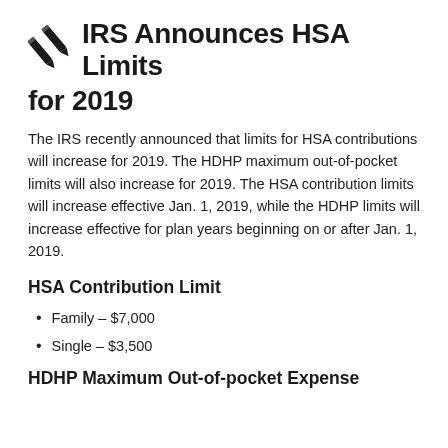IRS Announces HSA Limits for 2019
The IRS recently announced that limits for HSA contributions will increase for 2019. The HDHP maximum out-of-pocket limits will also increase for 2019. The HSA contribution limits will increase effective Jan. 1, 2019, while the HDHP limits will increase effective for plan years beginning on or after Jan. 1, 2019.
HSA Contribution Limit
Family – $7,000
Single – $3,500
HDHP Maximum Out-of-pocket Expense